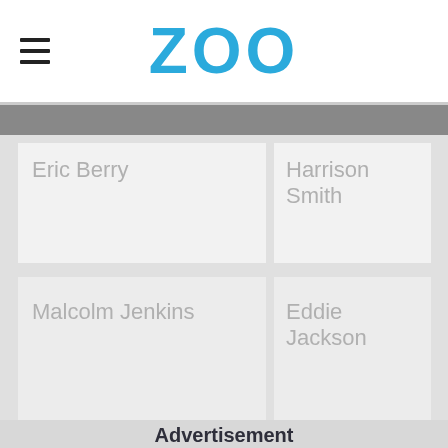ZOO
Eric Berry
Harrison Smith
Malcolm Jenkins
Eddie Jackson
Advertisement